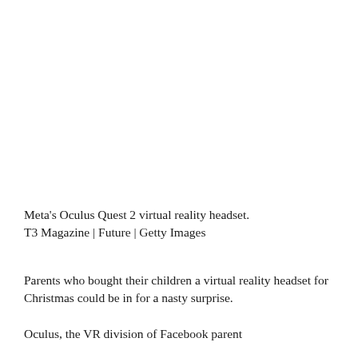Meta's Oculus Quest 2 virtual reality headset. T3 Magazine | Future | Getty Images
Parents who bought their children a virtual reality headset for Christmas could be in for a nasty surprise.
Oculus, the VR division of Facebook parent